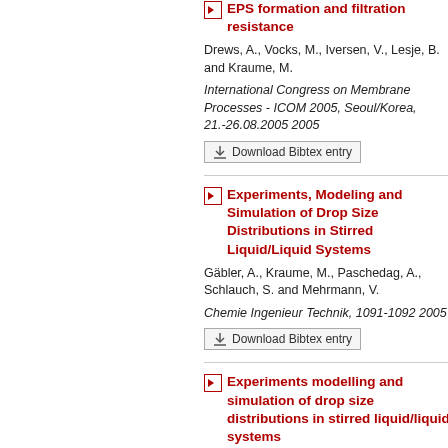EPS formation and filtration resistance
Drews, A., Vocks, M., Iversen, V., Lesje, B. and Kraume, M.
International Congress on Membrane Processes - ICOM 2005, Seoul/Korea, 21.-26.08.2005 2005
Download Bibtex entry
Experiments, Modeling and Simulation of Drop Size Distributions in Stirred Liquid/Liquid Systems
Gäbler, A., Kraume, M., Paschedag, A., Schlauch, S. and Mehrmann, V.
Chemie Ingenieur Technik, 1091-1092 2005
Download Bibtex entry
Experiments modelling and simulation of drop size distributions in stirred liquid/liquid systems
Gäbler, A., Schlauch, S., Paschedag, A. and Kraume, M.
3rd International Berlin Workshop (IBW3)